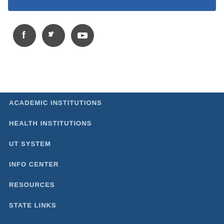[Figure (illustration): Blue banner bar at the top of the page]
[Figure (illustration): Social media icons: Facebook (F), Twitter (bird), YouTube (play button) in dark grey circles]
ACADEMIC INSTITUTIONS
HEALTH INSTITUTIONS
UT SYSTEM
INFO CENTER
RESOURCES
STATE LINKS